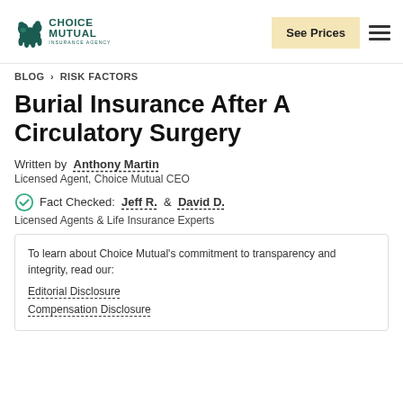Choice Mutual Insurance Agency | See Prices
BLOG > RISK FACTORS
Burial Insurance After A Circulatory Surgery
Written by Anthony Martin
Licensed Agent, Choice Mutual CEO
Fact Checked: Jeff R. & David D.
Licensed Agents & Life Insurance Experts
To learn about Choice Mutual's commitment to transparency and integrity, read our: Editorial Disclosure, Compensation Disclosure